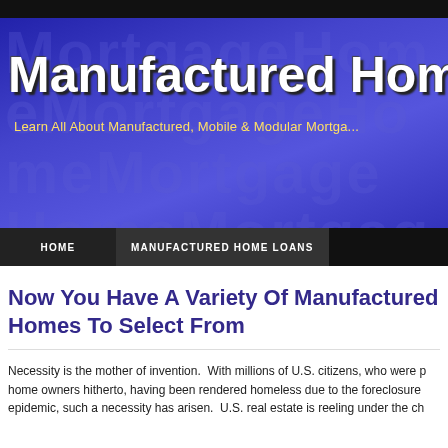[Figure (other): Website header banner with blue gradient background and decorative background text. Title reads 'Manufactured Home' in large white bold font. Subtitle reads 'Learn All About Manufactured, Mobile & Modular Mortga...' in yellow text.]
HOME   MANUFACTURED HOME LOANS
Now You Have A Variety Of Manufactured Homes To Select From
Necessity is the mother of invention.  With millions of U.S. citizens, who were p home owners hitherto, having been rendered homeless due to the foreclosure epidemic, such a necessity has arisen.  U.S. real estate is reeling under the ch